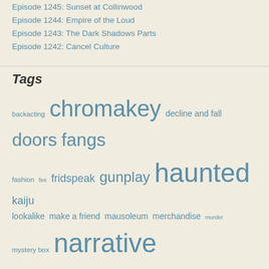Episode 1245: Sunset at Collinwood
Episode 1244: Empire of the Loud
Episode 1243: The Dark Shadows Parts
Episode 1242: Cancel Culture
Tags
backacting chromakey decline and fall doors fangs fashion fire fridspeak gunplay haunted kaiju lookalike make a friend mausoleum merchandise murder mystery box narrative collision police futility portraits satan's favorite tv show the past time travel werewolf writers